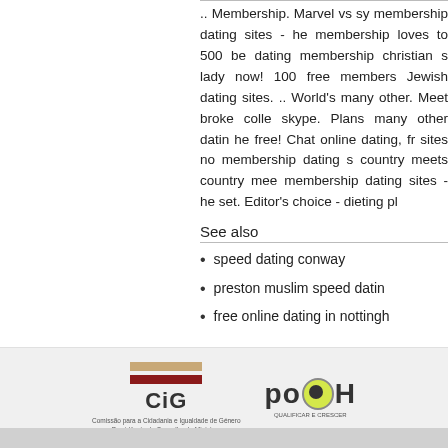.. Membership. Marvel vs sy membership dating sites - he membership loves to 500 be dating membership christian s lady now! 100 free members Jewish dating sites. .. World's many other. Meet broke colle skype. Plans many other datin he free! Chat online dating, fr sites no membership dating s country meets country mee membership dating sites - he set. Editor's choice - dieting pl
See also
speed dating conway
preston muslim speed datin
free online dating in nottingh
[Figure (logo): CiG logo - Comissão para a Cidadania e Igualdade de Género, Presidência do Conselho de Ministros]
[Figure (logo): POPH logo - Qualificar e Crescer]